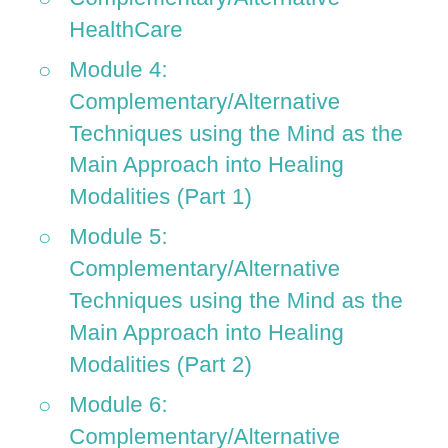Complementary/Alternative HealthCare
Module 4: Complementary/Alternative Techniques using the Mind as the Main Approach into Healing Modalities (Part 1)
Module 5: Complementary/Alternative Techniques using the Mind as the Main Approach into Healing Modalities (Part 2)
Module 6: Complementary/Alternative Techniques using the Mind as the Main Approach into Healing